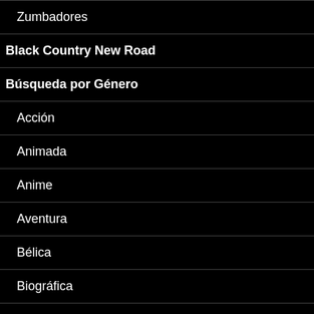Zumbadores
Black Country New Road
Búsqueda por Género
Acción
Animada
Anime
Aventura
Bélica
Biográfica
Ciencia Ficción
Comedia
Translate »